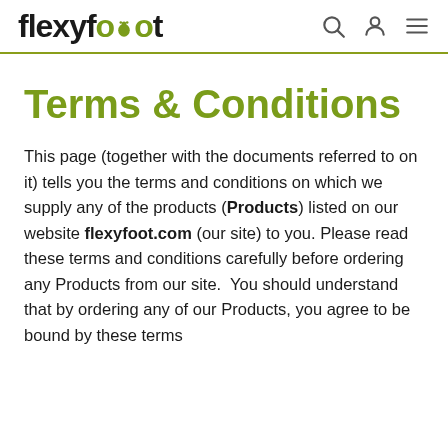flexyfoot [logo with search, account, menu icons]
Terms & Conditions
This page (together with the documents referred to on it) tells you the terms and conditions on which we supply any of the products (Products) listed on our website flexyfoot.com (our site) to you. Please read these terms and conditions carefully before ordering any Products from our site.  You should understand that by ordering any of our Products, you agree to be bound by these terms